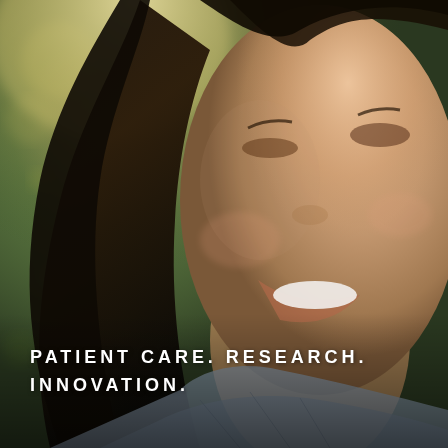[Figure (photo): Close-up portrait of a smiling Asian woman with long dark hair, photographed outdoors with a softly blurred green bokeh background and warm sunlight. She is wearing a grey patterned top.]
PATIENT CARE. RESEARCH. INNOVATION.